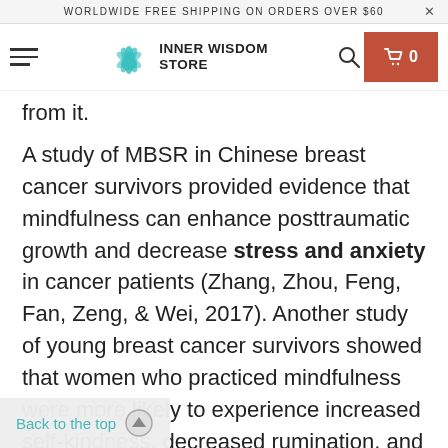WORLDWIDE FREE SHIPPING ON ORDERS OVER $60
[Figure (logo): Inner Wisdom Store logo with teal lotus flower icon and store name]
from it.
A study of MBSR in Chinese breast cancer survivors provided evidence that mindfulness can enhance posttraumatic growth and decrease stress and anxiety in cancer patients (Zhang, Zhou, Feng, Fan, Zeng, & Wei, 2017). Another study of young breast cancer survivors showed that women who practiced mindfulness were more likely to experience increased self-kindness, decreased rumination, and decreased stress (Boyle, Stanton, Ganz, Crespi, & Bower,